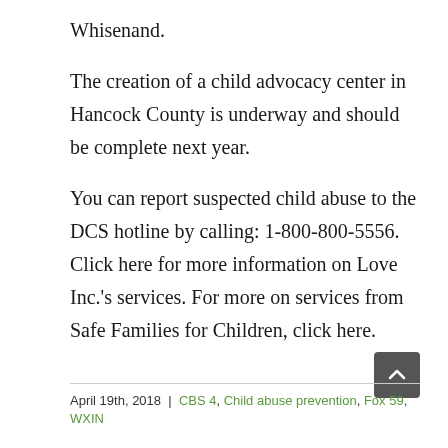Whisenand.
The creation of a child advocacy center in Hancock County is underway and should be complete next year.
You can report suspected child abuse to the DCS hotline by calling: 1-800-800-5556. Click here for more information on Love Inc.'s services. For more on services from Safe Families for Children, click here.
April 19th, 2018 | CBS 4, Child abuse prevention, Fox 59, WXIN